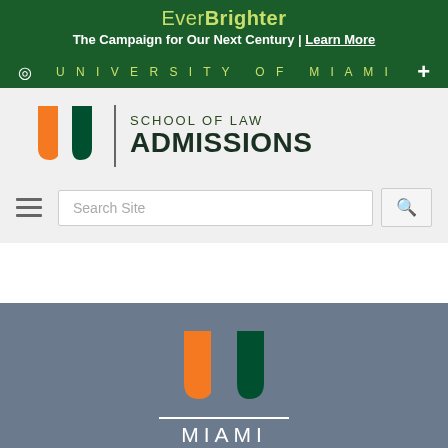EverBrighter The Campaign for Our Next Century | Learn More
[Figure (logo): University of Miami navigation bar with eye icon, UNIVERSITY OF MIAMI text, and plus icon]
[Figure (logo): University of Miami School of Law Admissions logo with UM U logo mark and text]
[Figure (screenshot): Search bar with hamburger menu icon and search button]
[Figure (logo): University of Miami logo (U mark with orange and green) with MIAMI text and horizontal rule on grey background]
University of Miami School of Law